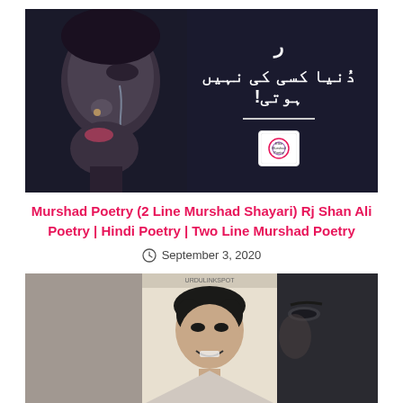[Figure (photo): Dark image of a crying person's face in profile on the left, with Urdu text on a dark background on the right. Text reads 'دنیا کسی کی نہیں ہوتی!' with a small circular logo below a horizontal divider.]
Murshad Poetry (2 Line Murshad Shayari) Rj Shan Ali Poetry | Hindi Poetry | Two Line Murshad Poetry
September 3, 2020
[Figure (photo): Photo of a young man smiling, shown in the center panel, with dark panels on either side. Appears to be a social media or blog post image.]